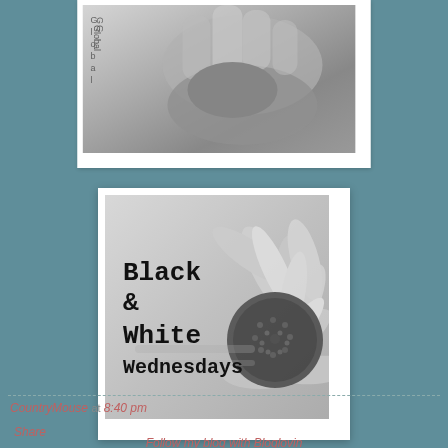[Figure (photo): Black and white photo of hands holding a rock or stone, with vertical text reading 'Global' on the left side]
[Figure (illustration): Black and white badge/logo image showing a sunflower with text 'Black & White Wednesdays' in typewriter font, framed with white border on a gray background]
Follow my blog with Bloglovin
CountryMouse at 8:40 pm
Share